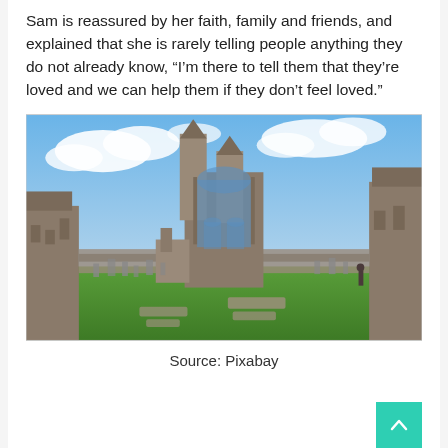Sam is reassured by her faith, family and friends, and explained that she is rarely telling people anything they do not already know, “I’m there to tell them that they’re loved and we can help them if they don’t feel loved.”
[Figure (photo): A photograph of ancient stone church ruins (likely St Andrews Cathedral, Scotland) under a partly cloudy blue sky, with a grassy grounds and gravestones visible in the foreground.]
Source: Pixabay